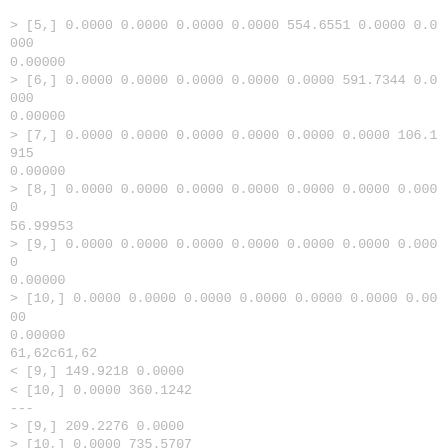> [5,] 0.0000 0.0000 0.0000 0.0000 554.6551 0.0000 0.0000
0.00000
> [6,] 0.0000 0.0000 0.0000 0.0000 0.0000 591.7344 0.0000
0.00000
> [7,] 0.0000 0.0000 0.0000 0.0000 0.0000 0.0000 106.1915
0.00000
> [8,] 0.0000 0.0000 0.0000 0.0000 0.0000 0.0000 0.0000
56.99953
> [9,] 0.0000 0.0000 0.0000 0.0000 0.0000 0.0000 0.0000
0.00000
> [10,] 0.0000 0.0000 0.0000 0.0000 0.0000 0.0000 0.0000
0.00000
61,62c61,62
< [9,] 149.9218 0.0000
< [10,] 0.0000 360.1242
---
> [9,] 209.2276 0.0000
> [10,] 0.0000 735.5707
128c128
< [63,] 36 201 1.0000000
---
> [63,] 36 365 1.0000000
170c170
< [105,] 58 211 1.0000000
---
> [105,] 58 198 1.0000000